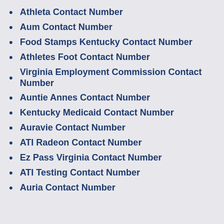Athleta Contact Number
Aum Contact Number
Food Stamps Kentucky Contact Number
Athletes Foot Contact Number
Virginia Employment Commission Contact Number
Auntie Annes Contact Number
Kentucky Medicaid Contact Number
Auravie Contact Number
ATI Radeon Contact Number
Ez Pass Virginia Contact Number
ATI Testing Contact Number
Auria Contact Number